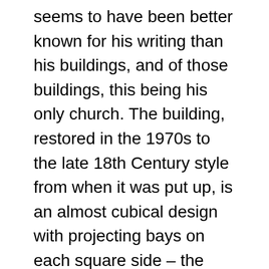seems to have been better known for his writing than his buildings, and of those buildings, this being his only church. The building, restored in the 1970s to the late 18th Century style from when it was put up, is an almost cubical design with projecting bays on each square side – the entrance being through a portico on the western one – and only when the visitor enters inside is it apparent that the Church is in the shape of a Greek cross. There is a shallow roof with a short clocktower in the centre, a miniature Baroque thing, with a clock on each side with projecting coupled pillars at the corners, and above, a bell shaped roof on a circular base, with a weathercock. Inside, all is painted white, with galleries on three sides of the lofty interior – the fourth side or arm of the cross being a short chancel with eight or nine